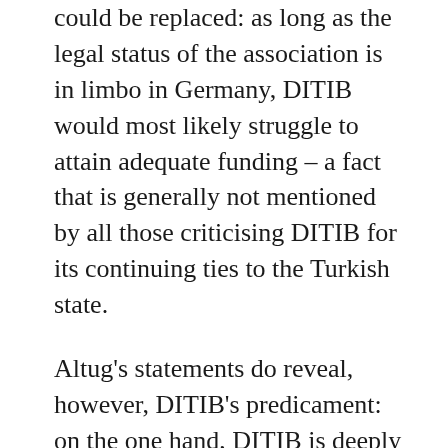could be replaced: as long as the legal status of the association is in limbo in Germany, DITIB would most likely struggle to attain adequate funding – a fact that is generally not mentioned by all those criticising DITIB for its continuing ties to the Turkish state.
Altug's statements do reveal, however, DITIB's predicament: on the one hand, DITIB is deeply embedded in Turkish institutions and politics. It cannot simply extricate itself from these ties to Turkish state and government. On the other hand, however, DITIB wishes to remain an influential player on the German political scene, also in order to retain its position in the large Turkish immigrant community in the country.